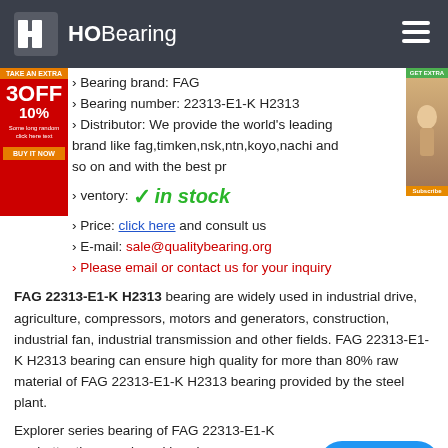HOBearing
Bearing brand: FAG
Bearing number: 22313-E1-K H2313
Distributor: We provide the world's leading brand like fag,timken,nsk,ntn,koyo,nachi and so on and with the best pr
Inventory: in stock
Price: click here and consult us
E-mail: sale@qualitybearing.org
Please email or contact us for your inquiry
FAG 22313-E1-K H2313 bearing are widely used in industrial drive, agriculture, compressors, motors and generators, construction, industrial fan, industrial transmission and other fields. FAG 22313-E1-K H2313 bearing can ensure high quality for more than 80% raw material of FAG 22313-E1-K H2313 bearing provided by the steel plant.
Explorer series bearing of FAG 22313-E1-K H... are better than any brand bearings curre... performance, lifetime, design, and the use of